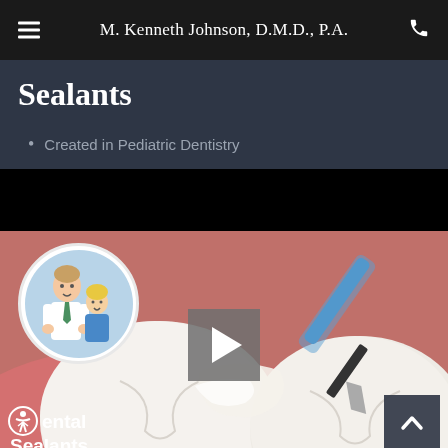M. Kenneth Johnson, D.M.D., P.A.
Sealants
Created in Pediatric Dentistry
[Figure (screenshot): Video thumbnail showing a close-up dental illustration of teeth with sealant being applied using a dental tool, with a cartoon dentist and child logo overlay on the left, a play button in the center, and 'Dental Sealants' text at the bottom left. The top portion of the video area is black (letterbox).]